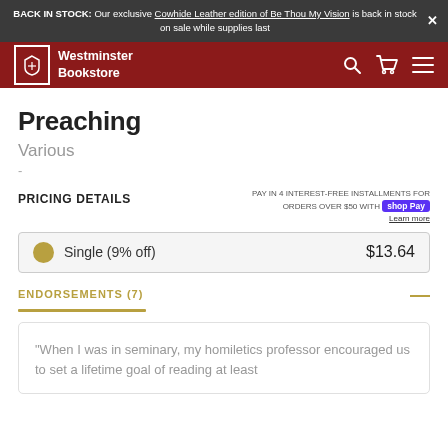BACK IN STOCK: Our exclusive Cowhide Leather edition of Be Thou My Vision is back in stock on sale while supplies last
[Figure (logo): Westminster Bookstore navigation bar with logo, search, cart, and menu icons]
Preaching
Various
-
PRICING DETAILS
PAY IN 4 INTEREST-FREE INSTALLMENTS FOR ORDERS OVER $50 WITH Shop Pay. Learn more
Single (9% off)   $13.64
ENDORSEMENTS (7)
"When I was in seminary, my homiletics professor encouraged us to set a lifetime goal of reading at least